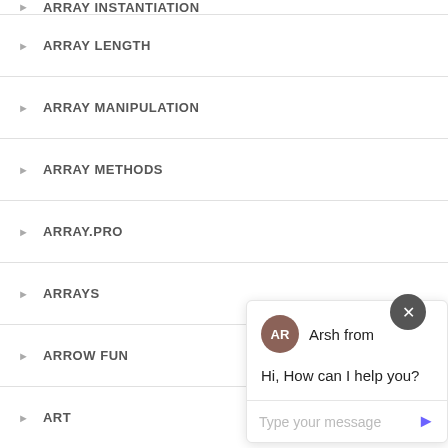ARRAY INSTANTIATION
ARRAY LENGTH
ARRAY MANIPULATION
ARRAY METHODS
ARRAY.PRO...
ARRAYS
ARROW FUN...
ART
ART DIRECTED ARTICLE
ART DIRECTION
[Figure (screenshot): Chat popup with avatar 'AR' for 'Arsh from', message 'Hi, How can I help you?', text input 'Type your message', send button, close button, and chat launcher button]